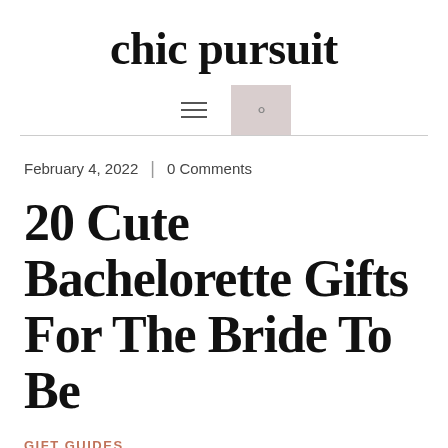chic pursuit
February 4, 2022 | 0 Comments
20 Cute Bachelorette Gifts For The Bride To Be
GIFT GUIDES
*Disclosure: This post may contain affiliate links, which means that we get a